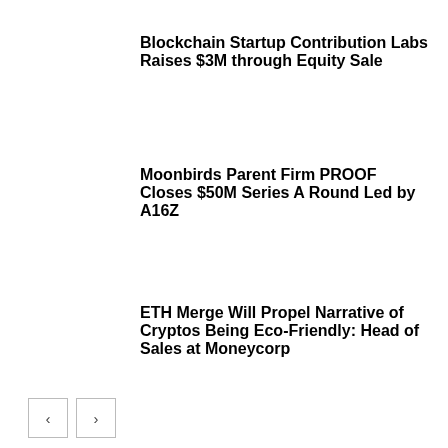Blockchain Startup Contribution Labs Raises $3M through Equity Sale
Moonbirds Parent Firm PROOF Closes $50M Series A Round Led by A16Z
ETH Merge Will Propel Narrative of Cryptos Being Eco-Friendly: Head of Sales at Moneycorp
LEAVE A REPLY
Comment: